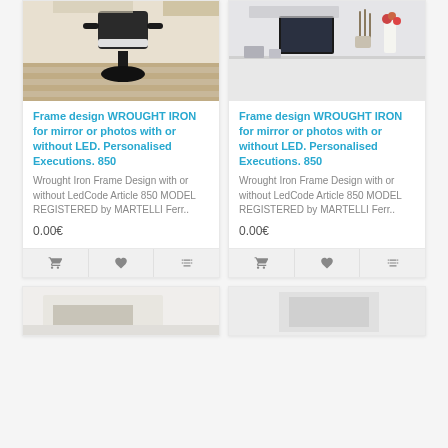[Figure (photo): Photo of a barber/salon chair on wooden floor]
Frame design WROUGHT IRON for mirror or photos with or without LED. Personalised Executions. 850
Wrought Iron Frame Design with or without LedCode Article 850 MODEL REGISTERED by MARTELLI Ferr..
0.00€
[Figure (photo): Photo of a salon/reception desk with mirror and decorations]
Frame design WROUGHT IRON for mirror or photos with or without LED. Personalised Executions. 850
Wrought Iron Frame Design with or without LedCode Article 850 MODEL REGISTERED by MARTELLI Ferr..
0.00€
[Figure (photo): Partial view of a product image at bottom left]
[Figure (photo): Partial view of a product image at bottom right]